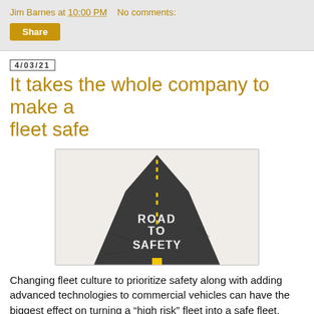Jim Barnes at 10:00 PM   No comments:
Share
4/03/21
It takes the whole company to make a fleet safe
[Figure (photo): A road leading upward shaped like an arrow with 'ROAD TO SAFETY' written in 3D letters on the asphalt, with a yellow dashed center line.]
Changing fleet culture to prioritize safety along with adding advanced technologies to commercial vehicles can have the biggest effect on turning a “high risk” fleet into a safe fleet, according to a recent study.